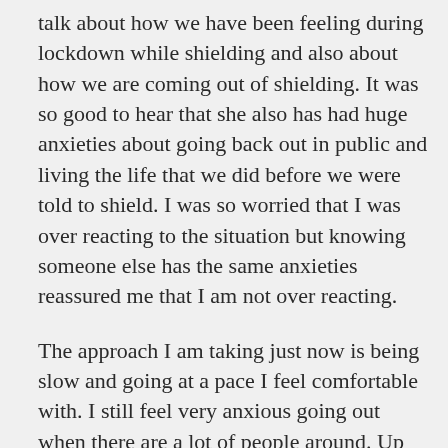talk about how we have been feeling during lockdown while shielding and also about how we are coming out of shielding. It was so good to hear that she also has had huge anxieties about going back out in public and living the life that we did before we were told to shield. I was so worried that I was over reacting to the situation but knowing someone else has the same anxieties reassured me that I am not over reacting.
The approach I am taking just now is being slow and going at a pace I feel comfortable with. I still feel very anxious going out when there are a lot of people around. Up north in Fearnan I feel ok but it is a very small village and the community is acutely aware about protecting our population to try and not let COVID come and become rife in the Breadalbane area.